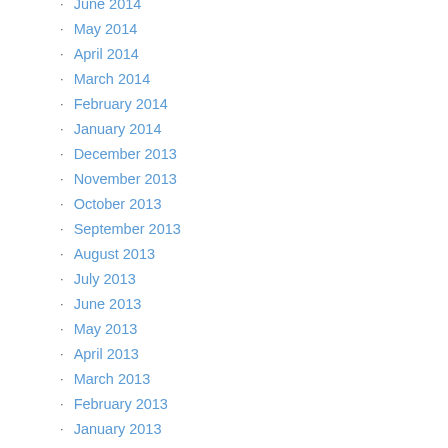June 2014
May 2014
April 2014
March 2014
February 2014
January 2014
December 2013
November 2013
October 2013
September 2013
August 2013
July 2013
June 2013
May 2013
April 2013
March 2013
February 2013
January 2013
December 2012
October 2012
September 2012
August 2012